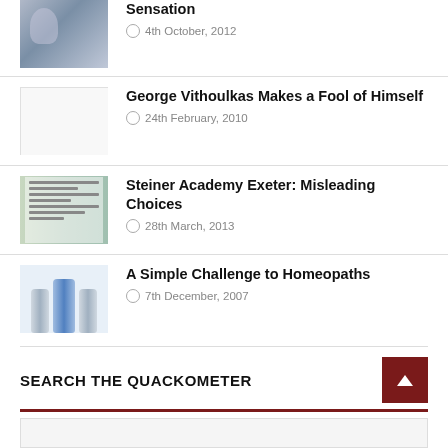[Figure (photo): Partial magazine cover thumbnail with woman posing]
Sensation
4th October, 2012
[Figure (photo): Light gray placeholder thumbnail]
George Vithoulkas Makes a Fool of Himself
24th February, 2010
[Figure (photo): Newspaper article thumbnail]
Steiner Academy Exeter: Misleading Choices
28th March, 2013
[Figure (photo): Homeopathy bottles thumbnail]
A Simple Challenge to Homeopaths
7th December, 2007
SEARCH THE QUACKOMETER